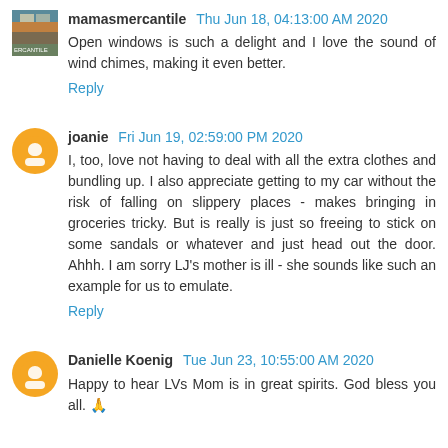mamasmercantile Thu Jun 18, 04:13:00 AM 2020
Open windows is such a delight and I love the sound of wind chimes, making it even better.
Reply
joanie Fri Jun 19, 02:59:00 PM 2020
I, too, love not having to deal with all the extra clothes and bundling up. I also appreciate getting to my car without the risk of falling on slippery places - makes bringing in groceries tricky. But is really is just so freeing to stick on some sandals or whatever and just head out the door. Ahhh. I am sorry LJ's mother is ill - she sounds like such an example for us to emulate.
Reply
Danielle Koenig Tue Jun 23, 10:55:00 AM 2020
Happy to hear LVs Mom is in great spirits. God bless you all. 🙏